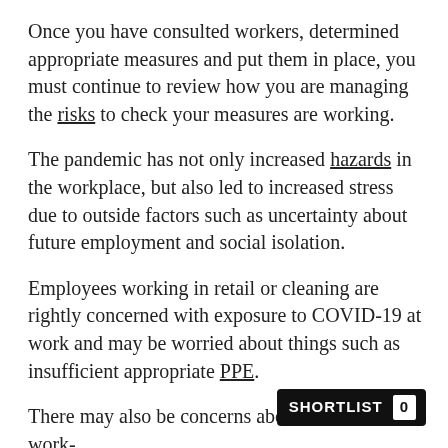Once you have consulted workers, determined appropriate measures and put them in place, you must continue to review how you are managing the risks to check your measures are working.
The pandemic has not only increased hazards in the workplace, but also led to increased stress due to outside factors such as uncertainty about future employment and social isolation.
Employees working in retail or cleaning are rightly concerned with exposure to COVID-19 at work and may be worried about things such as insufficient appropriate PPE.
There may also be concerns about increased work-related violence, aggression and i...